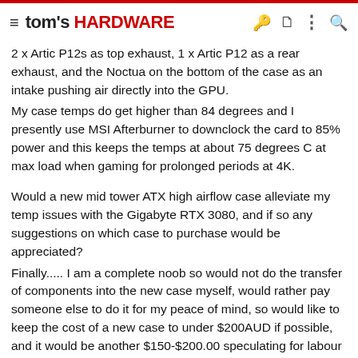tom's HARDWARE
2 x Artic P12s as top exhaust, 1 x Artic P12 as a rear exhaust, and the Noctua on the bottom of the case as an intake pushing air directly into the GPU.
My case temps do get higher than 84 degrees and I presently use MSI Afterburner to downclock the card to 85% power and this keeps the temps at about 75 degrees C at max load when gaming for prolonged periods at 4K.
Would a new mid tower ATX high airflow case alleviate my temp issues with the Gigabyte RTX 3080, and if so any suggestions on which case to purchase would be appreciated?
Finally..... I am a complete noob so would not do the transfer of components into the new case myself, would rather pay someone else to do it for my peace of mind, so would like to keep the cost of a new case to under $200AUD if possible, and it would be another $150-$200.00 speculating for labour of having someone else do the build.